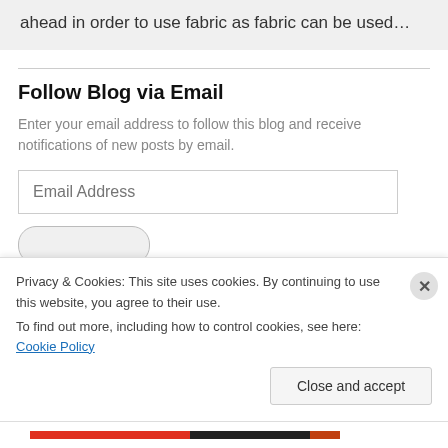ahead in order to use fabric as fabric can be used…
Follow Blog via Email
Enter your email address to follow this blog and receive notifications of new posts by email.
Email Address
Privacy & Cookies: This site uses cookies. By continuing to use this website, you agree to their use.
To find out more, including how to control cookies, see here: Cookie Policy
Close and accept